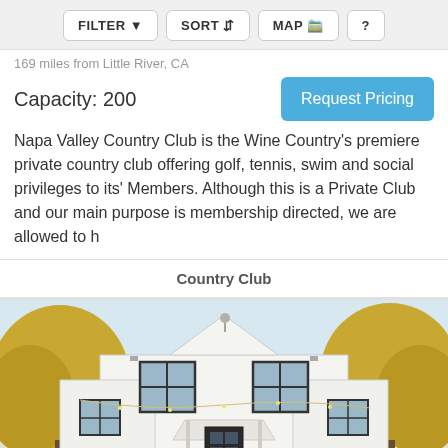FILTER  SORT  MAP  ?
169 miles from Little River, CA
Capacity: 200
Request Pricing
Napa Valley Country Club is the Wine Country's premiere private country club offering golf, tennis, swim and social privileges to its' Members. Although this is a Private Club and our main purpose is membership directed, we are allowed to h
Country Club
[Figure (photo): Exterior of a white farmhouse-style building with black-framed windows, surrounded by autumn trees with yellow foliage, string lights visible outside, and a covered porch area.]